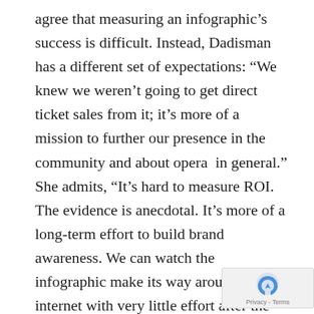agree that measuring an infographic's success is difficult. Instead, Dadisman has a different set of expectations: “We knew we weren’t going to get direct ticket sales from it; it’s more of a mission to further our presence in the community and about opera  in general.” She admits, “It’s hard to measure ROI. The evidence is anecdotal. It’s more of a long-term effort to build brand awareness. We can watch the infographic make its way around the internet with very little effort after the initial posting, so we know people are sharing it and spreading the word.”
At Open Arms, McManus and Pagani agree. “Donations went up last year but we can’t pin it directly to our infographic efforts. We hear a lot of